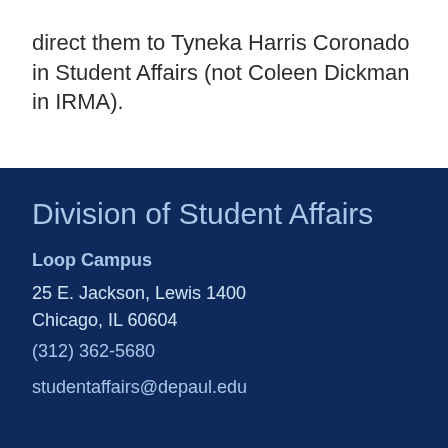direct them to Tyneka Harris Coronado in Student Affairs (not Coleen Dickman in IRMA).
Division of Student Affairs
Loop Campus
25 E. Jackson, Lewis 1400
Chicago, IL 60604
(312) 362-5680
studentaffairs@depaul.edu